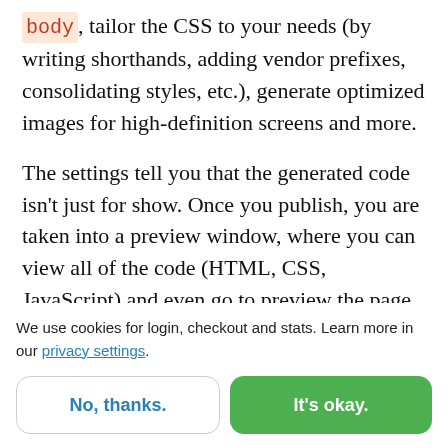body, tailor the CSS to your needs (by writing shorthands, adding vendor prefixes, consolidating styles, etc.), generate optimized images for high-definition screens and more.
The settings tell you that the generated code isn't just for show. Once you publish, you are taken into a preview window, where you can view all of the code (HTML, CSS, JavaScript) and even go to preview the page in your default browser. Of the three
We use cookies for login, checkout and stats. Learn more in our privacy settings.